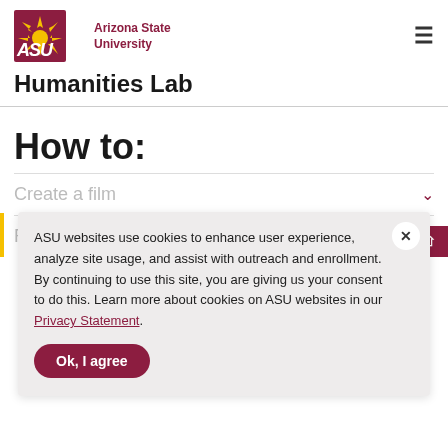[Figure (logo): Arizona State University logo with ASU text and sun icon in maroon and gold]
Humanities Lab
How to:
ASU websites use cookies to enhance user experience, analyze site usage, and assist with outreach and enrollment. By continuing to use this site, you are giving us your consent to do this. Learn more about cookies on ASU websites in our Privacy Statement.
Create a film
Record a podcast